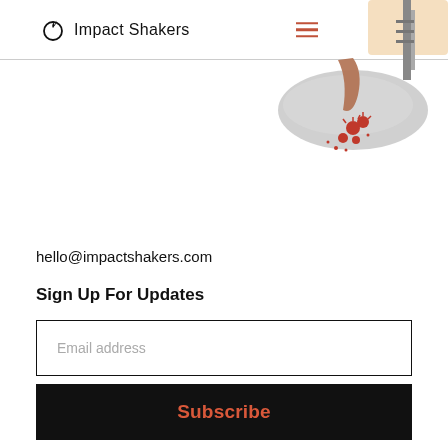Impact Shakers
[Figure (photo): Partial collage image showing a person and industrial/urban elements with decorative red circular icons, positioned at the top right of the page.]
hello@impactshakers.com
Sign Up For Updates
Email address
Subscribe